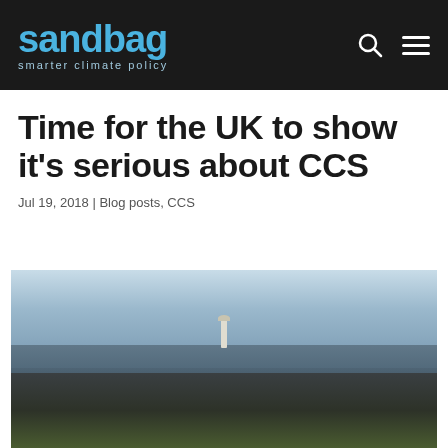sandbag — smarter climate policy
Time for the UK to show it's serious about CCS
Jul 19, 2018 | Blog posts, CCS
[Figure (photo): Dramatic coastal scene with rocky shoreline in foreground, turbulent sea in middle ground, distant lighthouse or structure amid misty blue atmosphere, overcast sky]